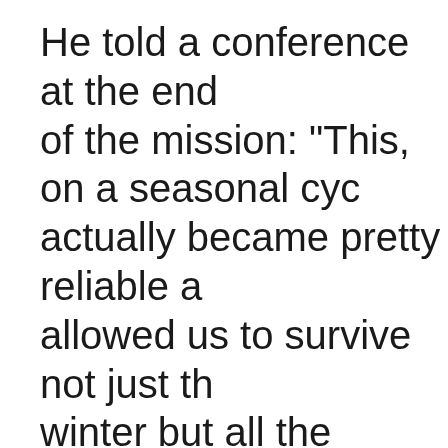He told a conference at the end of the mission: "This, on a seasonal cycle, actually became pretty reliable and allowed us to survive not just the winter but all the winters we experienced on Mars and to keep going and exploring." He said that the batteries on each rover were also "the finest batteries in the solar system". He added: "We were innovative in our problem-solving and figuring out...